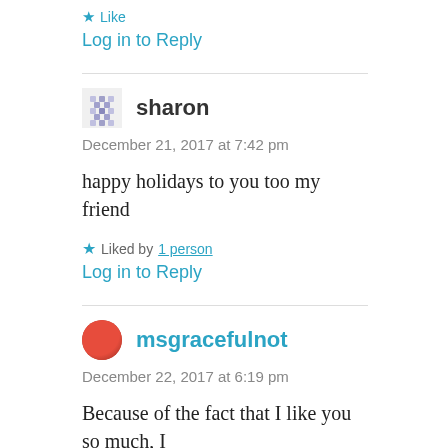★ Like
Log in to Reply
sharon
December 21, 2017 at 7:42 pm
happy holidays to you too my friend
★ Liked by 1 person
Log in to Reply
msgracefulnot
December 22, 2017 at 6:19 pm
Because of the fact that I like you so much, I